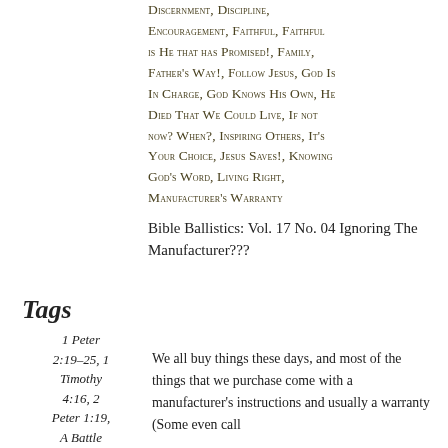Discernment, Discipline, Encouragement, Faithful, Faithful is He that has Promised!, Family, Father's Way!, Follow Jesus, God Is In Charge, God Knows His Own, He Died That We Could Live, If not now? When?, Inspiring Others, It's Your Choice, Jesus Saves!, Knowing God's Word, Living Right, Manufacturer's Warranty
Bible Ballistics: Vol. 17 No. 04 Ignoring The Manufacturer???
Tags
1 Peter 2:19–25, 1 Timothy 4:16, 2 Peter 1:19, A Battle
We all buy things these days, and most of the things that we purchase come with a manufacturer's instructions and usually a warranty (Some even call